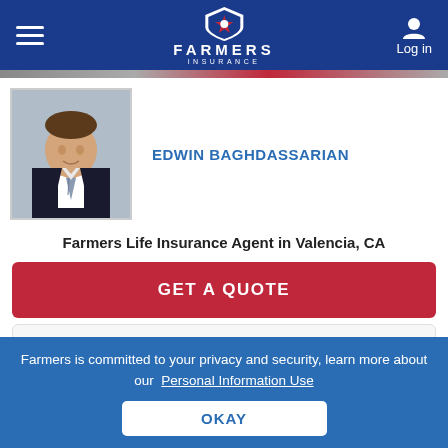Farmers Insurance — Log in
[Figure (photo): Headshot photo of Edwin Baghdassarian, a man in a dark suit with a tie, smiling, against a light background]
EDWIN BAGHDASSARIAN
Farmers Life Insurance Agent in Valencia, CA
GET A QUOTE
CALL ME
Address
Farmers is committed to your privacy and security, learn more about our Personal Information Use
OKAY